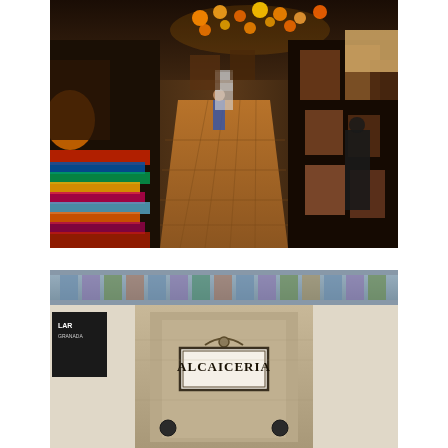[Figure (photo): Interior of a market shop with a long narrow corridor lined with colorful textiles, leather bags, decorative lamps hanging from the ceiling, and various handicrafts. The floor is tiled in brown/terracotta. A shopper is visible in the middle distance.]
[Figure (photo): Entrance archway of a market with a sign reading 'ALCAICERIA'. The arch is made of stone/concrete with decorative tiled frieze above. Two round black metal studs are visible on the door frame sides.]